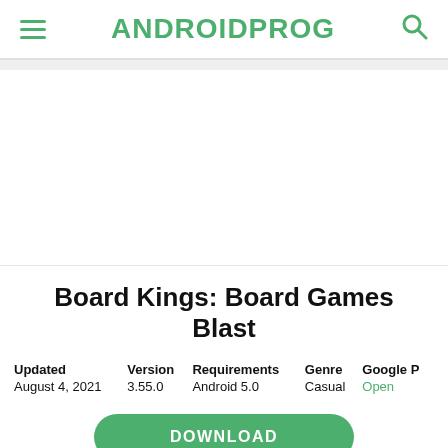ANDROIDPROG
Board Kings: Board Games Blast
| Updated | Version | Requirements | Genre | Google P |
| --- | --- | --- | --- | --- |
| August 4, 2021 | 3.55.0 | Android 5.0 | Casual | Open |
DOWNLOAD